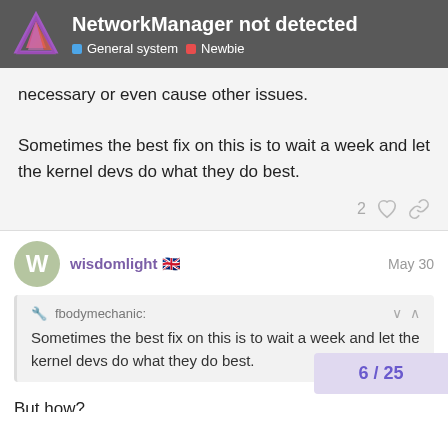NetworkManager not detected | General system | Newbie
necessary or even cause other issues.
Sometimes the best fix on this is to wait a week and let the kernel devs do what they do best.
wisdomlight 🇬🇧 May 30
fbodymechanic: Sometimes the best fix on this is to wait a week and let the kernel devs do what they do best.
But how?
The os with the latest kernel has no internet connection and can't be updated.
6 / 25